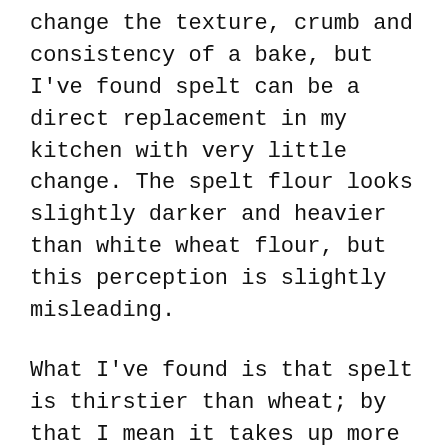change the texture, crumb and consistency of a bake, but I've found spelt can be a direct replacement in my kitchen with very little change. The spelt flour looks slightly darker and heavier than white wheat flour, but this perception is slightly misleading.
What I've found is that spelt is thirstier than wheat; by that I mean it takes up more water in comparison to the same amount of white flour. This seems to be at odds with everything that I've read about spelt, suggesting it ought to be the opposite (that is, needs less liquid) – perhaps it's the type of bakes that I've used it in. So, I'd just suggest that if you are converting recipes to spelt please bear in mind that the ratio of liquids to